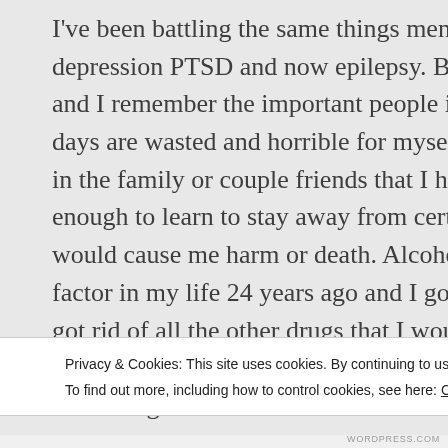I've been battling the same things mental illness bipolar depression PTSD and now epilepsy. But every day I get up and I remember the important people in my life even when days are wasted and horrible for myself I have a blessing in the family or couple friends that I have. I've been lucky enough to learn to stay away from certain things . That would cause me harm or death. Alcohol was the biggest factor in my life 24 years ago and I got rid of that which got rid of all the other drugs that I would ever do. Alcohol leads to very bad behavior which are making me to try other drugs. The one
Privacy & Cookies: This site uses cookies. By continuing to use this website, you agree to their use.
To find out more, including how to control cookies, see here: Cookie Policy
Close and accept
WORDPRESS.COM